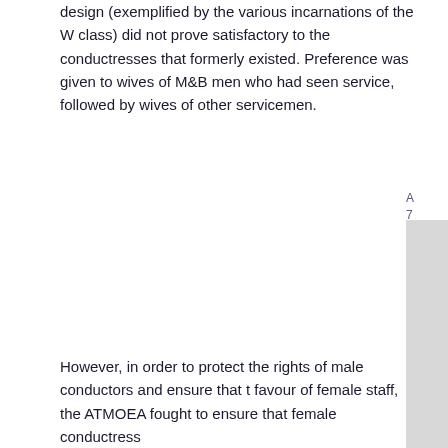design (exemplified by the various incarnations of the W class) did not prove satisfactory to the conductresses that formerly existed. Preference was given to wives of M&B men who had seen service, followed by wives of other servicemen.
However, in order to protect the rights of male conductors and ensure that the industry did not favour of female staff, the ATMOEA fought to ensure that female conductresses